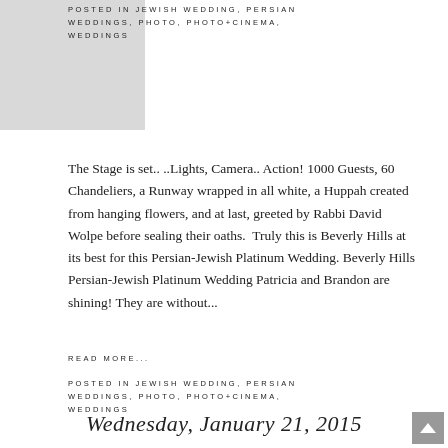POSTED IN JEWISH WEDDING, PERSIAN WEDDINGS, PHOTO, PHOTO+CINEMA, WEDDINGS
The Stage is set.. ..Lights, Camera.. Action! 1000 Guests, 60 Chandeliers, a Runway wrapped in all white, a Huppah created from hanging flowers, and at last, greeted by Rabbi David Wolpe before sealing their oaths.  Truly this is Beverly Hills at its best for this Persian-Jewish Platinum Wedding. Beverly Hills Persian-Jewish Platinum Wedding Patricia and Brandon are shining! They are without...
READ MORE...
POSTED IN JEWISH WEDDING, PERSIAN WEDDINGS, PHOTO, PHOTO+CINEMA, WEDDINGS
Wednesday, January 21, 2015